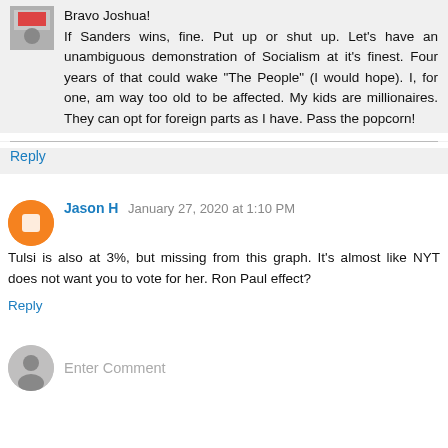Bravo Joshua! If Sanders wins, fine. Put up or shut up. Let's have an unambiguous demonstration of Socialism at it's finest. Four years of that could wake "The People" (I would hope). I, for one, am way too old to be affected. My kids are millionaires. They can opt for foreign parts as I have. Pass the popcorn!
Reply
Jason H  January 27, 2020 at 1:10 PM
Tulsi is also at 3%, but missing from this graph. It's almost like NYT does not want you to vote for her. Ron Paul effect?
Reply
Enter Comment